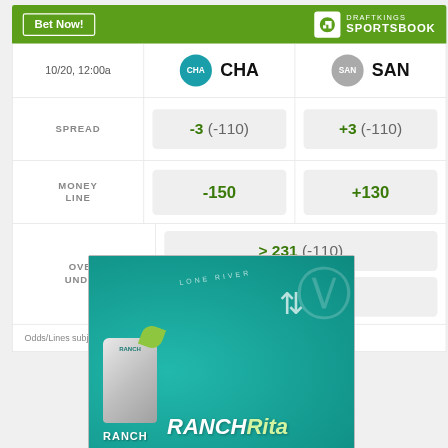|  | CHA | SAN |
| --- | --- | --- |
| 10/20, 12:00a | CHA | SAN |
| SPREAD | -3  (-110) | +3  (-110) |
| MONEY LINE | -150 | +130 |
| OVER
UNDER | > 231  (-110) | < 231  (-110) |
Odds/Lines subject to change. See draftkings.com for details.
[Figure (photo): Lone River Ranch Water advertisement featuring a can with a lime garnish on a teal textured background with Ranch Rita branding]